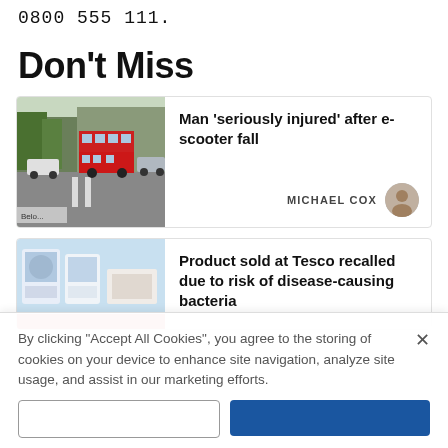0800 555 111.
Don't Miss
[Figure (photo): Street view of a UK high street with red double-decker buses and parked cars]
Man 'seriously injured' after e-scooter fall
MICHAEL COX
[Figure (photo): Product packaging photo with light blue background]
Product sold at Tesco recalled due to risk of disease-causing bacteria
By clicking "Accept All Cookies", you agree to the storing of cookies on your device to enhance site navigation, analyze site usage, and assist in our marketing efforts.